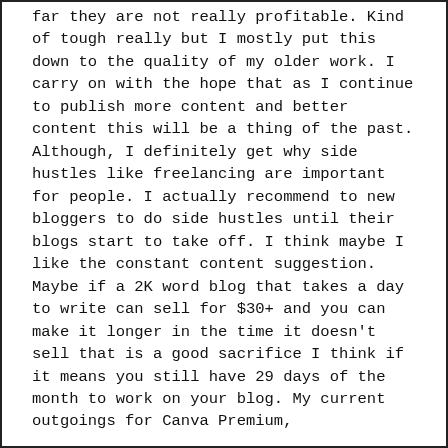far they are not really profitable. Kind of tough really but I mostly put this down to the quality of my older work. I carry on with the hope that as I continue to publish more content and better content this will be a thing of the past.
Although, I definitely get why side hustles like freelancing are important for people. I actually recommend to new bloggers to do side hustles until their blogs start to take off. I think maybe I like the constant content suggestion. Maybe if a 2K word blog that takes a day to write can sell for $30+ and you can make it longer in the time it doesn't sell that is a good sacrifice I think if it means you still have 29 days of the month to work on your blog. My current outgoings for Canva Premium,